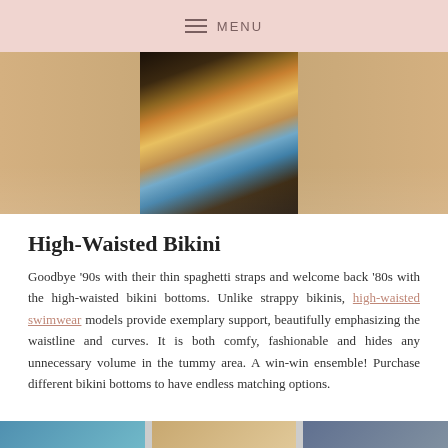MENU
[Figure (photo): Close-up of a woman's torso wearing a high-waisted patterned animal print bikini bottom with leopard and colorful design elements.]
High-Waisted Bikini
Goodbye '90s with their thin spaghetti straps and welcome back '80s with the high-waisted bikini bottoms. Unlike strappy bikinis, high-waisted swimwear models provide exemplary support, beautifully emphasizing the waistline and curves. It is both comfy, fashionable and hides any unnecessary volume in the tummy area. A win-win ensemble! Purchase different bikini bottoms to have endless matching options.
[Figure (photo): Bottom edge of another product photo, partially visible.]